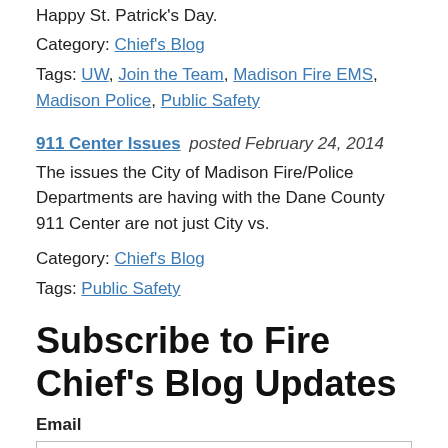Happy St. Patrick's Day.
Category: Chief's Blog
Tags: UW, Join the Team, Madison Fire EMS, Madison Police, Public Safety
911 Center Issues posted February 24, 2014
The issues the City of Madison Fire/Police Departments are having with the Dane County 911 Center are not just City vs.
Category: Chief's Blog
Tags: Public Safety
Subscribe to Fire Chief's Blog Updates
Email